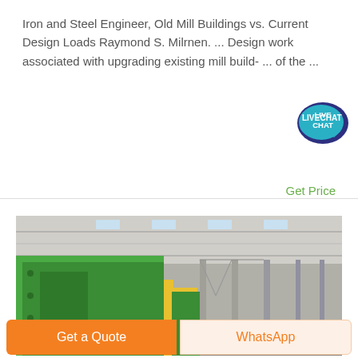Iron and Steel Engineer, Old Mill Buildings vs. Current Design Loads Raymond S. Milrnen. ... Design work associated with upgrading existing mill build- ... of the ...
[Figure (illustration): Live Chat speech bubble icon, dark blue/teal color with 'LIVE CHAT' text]
Get Price
[Figure (photo): Industrial mill building interior with large green steel equipment/machinery in the foreground and a large factory hall with steel roof trusses and skylights in the background]
Get a Quote
WhatsApp